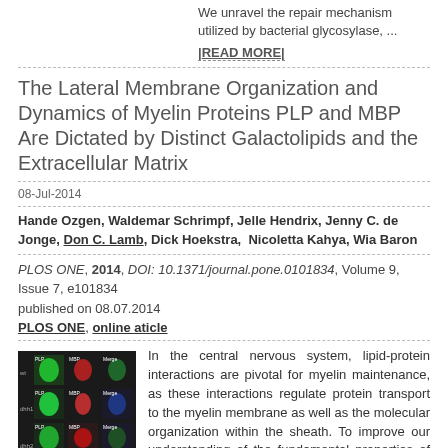We unravel the repair mechanism utilized by bacterial glycosylase, ...
|READ MORE|
The Lateral Membrane Organization and Dynamics of Myelin Proteins PLP and MBP Are Dictated by Distinct Galactolipids and the Extracellular Matrix
08-Jul-2014
Hande Ozgen, Waldemar Schrimpf, Jelle Hendrix, Jenny C. de Jonge, Don C. Lamb, Dick Hoekstra, Nicoletta Kahya, Wia Baron
PLOS ONE, 2014, DOI: 10.1371/journal.pone.0101834, Volume 9, Issue 7, e101834
published on 08.07.2014
PLOS ONE, online aticle
[Figure (photo): Grid of fluorescence microscopy images showing myelin protein distribution in cells, 3x3 grid with green and red channel images]
In the central nervous system, lipid-protein interactions are pivotal for myelin maintenance, as these interactions regulate protein transport to the myelin membrane as well as the molecular organization within the sheath. To improve our understanding of the fundamental properties of myelin, we focused here on the lateral membrane organization and dynamics of ...
|READ MORE|
Cholsky decomposed density MBP with d...